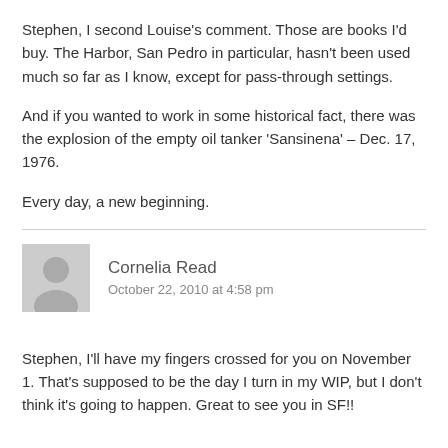Stephen, I second Louise's comment. Those are books I'd buy. The Harbor, San Pedro in particular, hasn't been used much so far as I know, except for pass-through settings.
And if you wanted to work in some historical fact, there was the explosion of the empty oil tanker 'Sansinena' – Dec. 17, 1976.
Every day, a new beginning.
Cornelia Read
October 22, 2010 at 4:58 pm
Stephen, I'll have my fingers crossed for you on November 1. That's supposed to be the day I turn in my WIP, but I don't think it's going to happen. Great to see you in SF!!